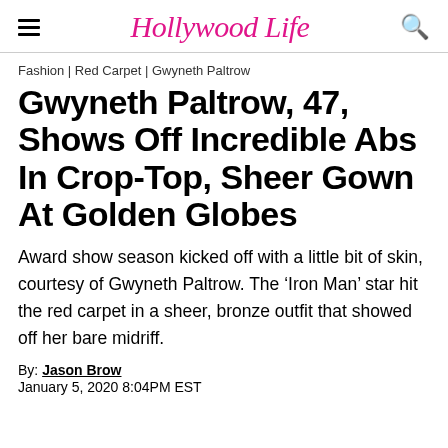Hollywood Life
Fashion | Red Carpet | Gwyneth Paltrow
Gwyneth Paltrow, 47, Shows Off Incredible Abs In Crop-Top, Sheer Gown At Golden Globes
Award show season kicked off with a little bit of skin, courtesy of Gwyneth Paltrow. The ‘Iron Man’ star hit the red carpet in a sheer, bronze outfit that showed off her bare midriff.
By: Jason Brow
January 5, 2020 8:04PM EST